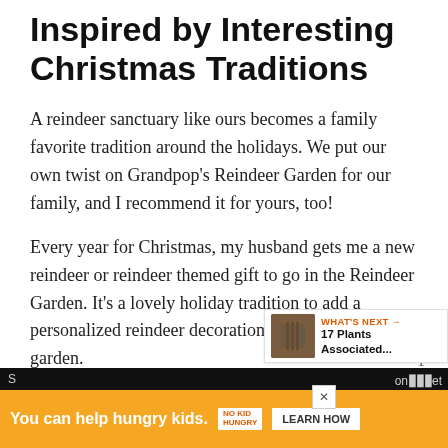Inspired by Interesting Christmas Traditions
A reindeer sanctuary like ours becomes a family favorite tradition around the holidays. We put our own twist on Grandpop's Reindeer Garden for our family, and I recommend it for yours, too!
Every year for Christmas, my husband gets me a new reindeer or reindeer themed gift to go in the Reindeer Garden. It’s a lovely holiday tradition to add a personalized reindeer decoration of some sort to our garden.
[Figure (infographic): UI overlay with heart/like button (blue circle with heart icon), count '1', and share button (gray circle with share icon)]
[Figure (infographic): WHAT'S NEXT panel with thumbnail image and text '17 Plants Associated...']
[Figure (infographic): Advertisement banner: orange background, text 'You can help hungry kids.' with No Kid Hungry logo and Learn How button. Black strip at bottom with partial text and logo.]